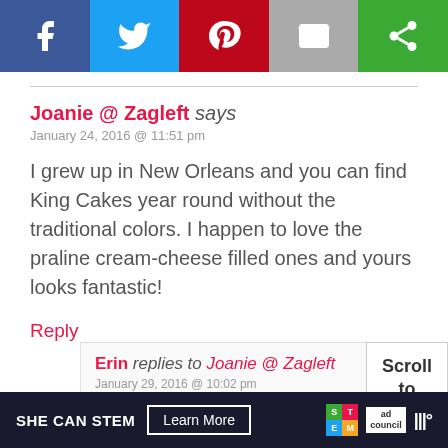[Figure (other): Social share bar with Facebook (blue), Twitter (light blue), Pinterest (red), Email (gray), and a green share button icons]
Joanie @ Zagleft says
January 24, 2016 @ 11:51 pm

I grew up in New Orleans and you can find King Cakes year round without the traditional colors. I happen to love the praline cream-cheese filled ones and yours looks fantastic!
Reply
Erin replies to Joanie @ Zagleft
January 29, 2016 @ 10:02 pm

Really?! I had no idea. I googled it and
Scroll
to
top
[Figure (infographic): SHE CAN STEM advertisement banner with Learn More button, STEM logo, Ad Council logo, and weather.com logo]